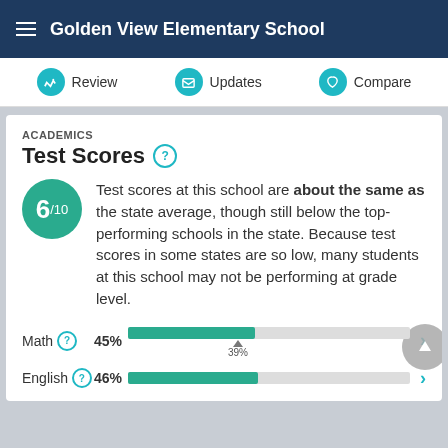Golden View Elementary School
Review | Updates | Compare
ACADEMICS
Test Scores
Test scores at this school are about the same as the state average, though still below the top-performing schools in the state. Because test scores in some states are so low, many students at this school may not be performing at grade level.
[Figure (bar-chart): Math and English test scores]